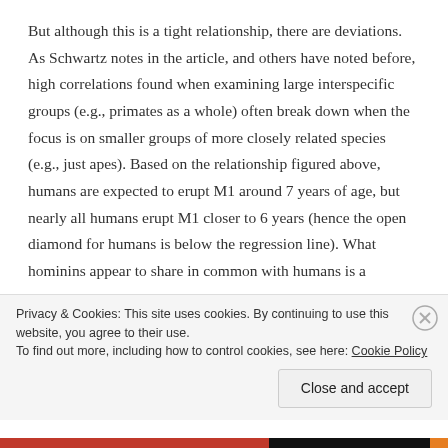But although this is a tight relationship, there are deviations. As Schwartz notes in the article, and others have noted before, high correlations found when examining large interspecific groups (e.g., primates as a whole) often break down when the focus is on smaller groups of more closely related species (e.g., just apes). Based on the relationship figured above, humans are expected to erupt M1 around 7 years of age, but nearly all humans erupt M1 closer to 6 years (hence the open diamond for humans is below the regression line). What hominins appear to share in common with humans is a
Privacy & Cookies: This site uses cookies. By continuing to use this website, you agree to their use.
To find out more, including how to control cookies, see here: Cookie Policy
Close and accept